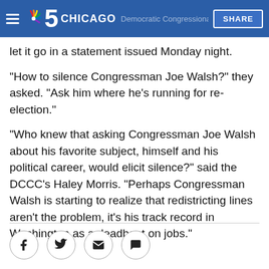NBC 5 Chicago | SHARE
The Democratic Congressional Campaign Committee didn't let it go in a statement issued Monday night.
"How to silence Congressman Joe Walsh?" they asked. "Ask him where he's running for re-election."
"Who knew that asking Congressman Joe Walsh about his favorite subject, himself and his political career, would elicit silence?" said the DCCC's Haley Morris. "Perhaps Congressman Walsh is starting to realize that redistricting lines aren't the problem, it's his track record in Washington as a deadbeat on jobs."